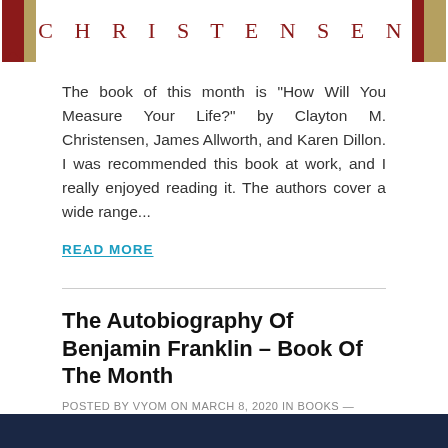[Figure (illustration): Book cover header with two red and gold bookmark/ribbon decorations on either side and the text CHRISTENSEN in red serif lettering with wide letter-spacing]
The book of this month is "How Will You Measure Your Life?" by Clayton M. Christensen, James Allworth, and Karen Dillon. I was recommended this book at work, and I really enjoyed reading it. The authors cover a wide range...
READ MORE
The Autobiography Of Benjamin Franklin – Book Of The Month
POSTED BY VYOM ON MARCH 8, 2020 IN BOOKS — LEAVE A COMMENT
[Figure (photo): Dark navy blue banner image at the bottom of the page]